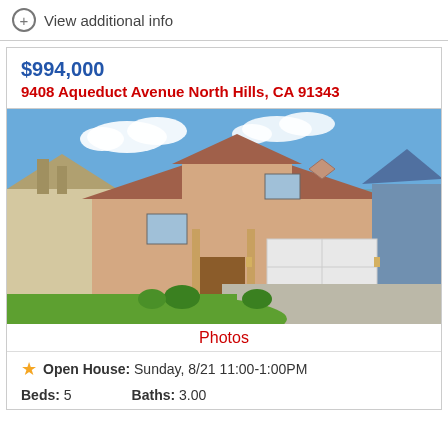View additional info
$994,000
9408 Aqueduct Avenue North Hills, CA 91343
[Figure (photo): Two-story stucco residential home with attached two-car garage, manicured front lawn, blue sky with clouds, neighboring houses visible on both sides.]
Photos
Open House:  Sunday, 8/21 11:00-1:00PM
Beds: 5    Baths: 3.00